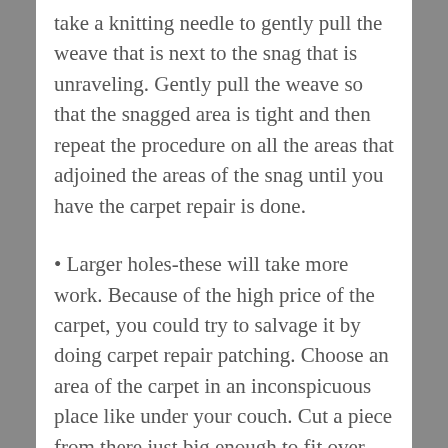take a knitting needle to gently pull the weave that is next to the snag that is unraveling. Gently pull the weave so that the snagged area is tight and then repeat the procedure on all the areas that adjoined the areas of the snag until you have the carpet repair is done.
• Larger holes-these will take more work. Because of the high price of the carpet, you could try to salvage it by doing carpet repair patching. Choose an area of the carpet in an inconspicuous place like under your couch. Cut a piece from there just big enough to fit over the large hole